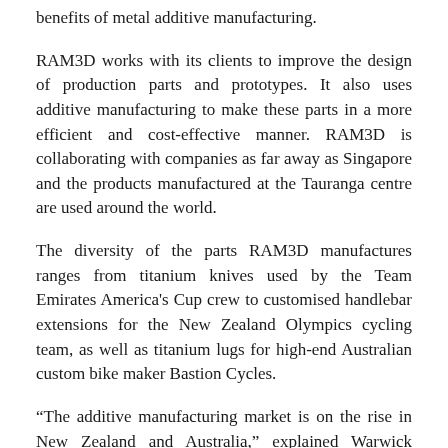benefits of metal additive manufacturing.
RAM3D works with its clients to improve the design of production parts and prototypes. It also uses additive manufacturing to make these parts in a more efficient and cost-effective manner. RAM3D is collaborating with companies as far away as Singapore and the products manufactured at the Tauranga centre are used around the world.
The diversity of the parts RAM3D manufactures ranges from titanium knives used by the Team Emirates America's Cup crew to customised handlebar extensions for the New Zealand Olympics cycling team, as well as titanium lugs for high-end Australian custom bike maker Bastion Cycles.
“The additive manufacturing market is on the rise in New Zealand and Australia,” explained Warwick Downing, Managing Director of Rapid Advanced Manufacturing. “This growth is fuelled by realism, not hype; the enquiries we are getting show a clear understanding of the potential of design for additive manufacturing. This is an encouraging trend. We believe this trend is being driven by industry collaborations that facilitate a